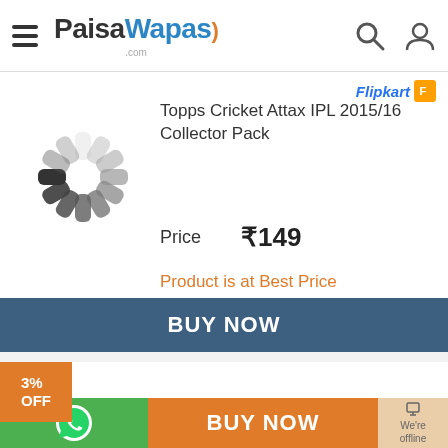PaisaWapas.com
Topps Cricket Attax IPL 2015/16 Collector Pack
Price ₹149
Product is at Best Price
BUY NOW
3% OFF
Topps Mapl Sticker Activity Album(Multicolor)
Price ₹299 ₹289
BUY NOW